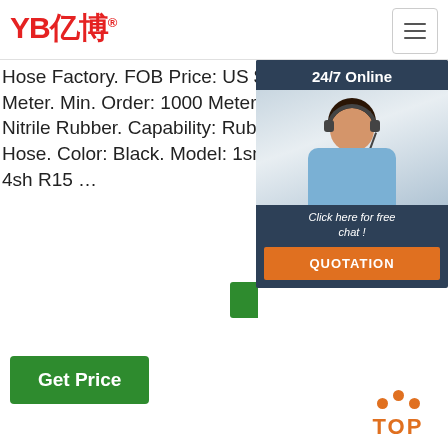[Figure (logo): YB亿博 logo in red with registered trademark symbol]
[Figure (illustration): Hamburger menu icon button top right]
Hose Factory. FOB Price: US $ 0.6-10 Meter. Min. Order: 1000 Meters. Material: Nitrile Rubber. Capability: Rubber Oil Hose. Color: Black. Model: 1sn 2sn 4sp 4sh R15 …
Machinery. Chinese Supplier Customized Coolant Engine EPDM Hose/EPDM Rubber Hose for Automobile. 5' Single Jacket PVC Rubber Lay-Flat Discharge Agricultural Irrigation Pipe Hose (multiple size options) Flexible Bending Wear Resistant and Corrosion Resistant Rubber Hose for Mining Dredge Work.
hose ma sup exp who on D Chi
[Figure (photo): 24/7 Online chat popup with female agent wearing headset, dark blue background, with Click here for free chat and QUOTATION button in orange]
Get Price
[Figure (other): TOP navigation button with orange dots above orange TOPtext]